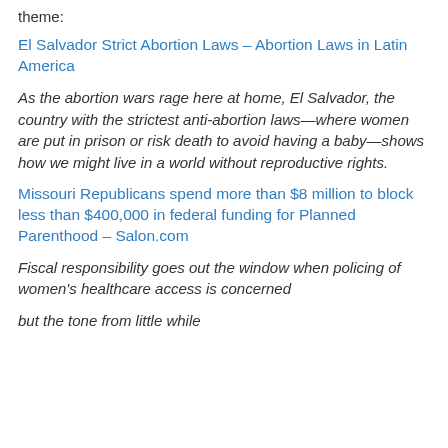theme:
El Salvador Strict Abortion Laws – Abortion Laws in Latin America
As the abortion wars rage here at home, El Salvador, the country with the strictest anti-abortion laws—where women are put in prison or risk death to avoid having a baby—shows how we might live in a world without reproductive rights.
Missouri Republicans spend more than $8 million to block less than $400,000 in federal funding for Planned Parenthood – Salon.com
Fiscal responsibility goes out the window when policing of women's healthcare access is concerned
but the tone from little while…